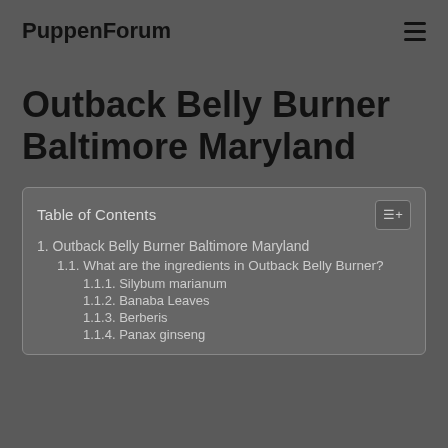PuppenForum
Outback Belly Burner Baltimore Maryland
| Table of Contents |
| --- |
| 1. Outback Belly Burner Baltimore Maryland |
| 1.1. What are the ingredients in Outback Belly Burner? |
| 1.1.1. Silybum marianum |
| 1.1.2. Banaba Leaves |
| 1.1.3. Berberis |
| 1.1.4. Panax ginseng |